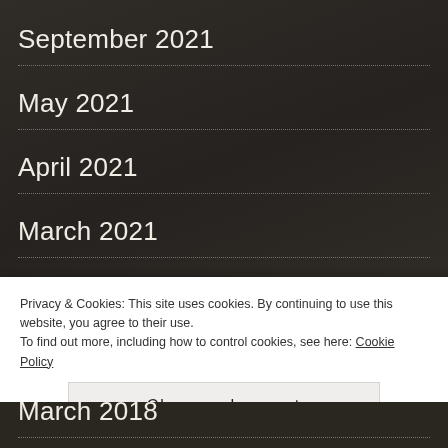September 2021
May 2021
April 2021
March 2021
February 2021
January 2021
April 2020
Privacy & Cookies: This site uses cookies. By continuing to use this website, you agree to their use.
To find out more, including how to control cookies, see here: Cookie Policy
Close and accept
March 2018